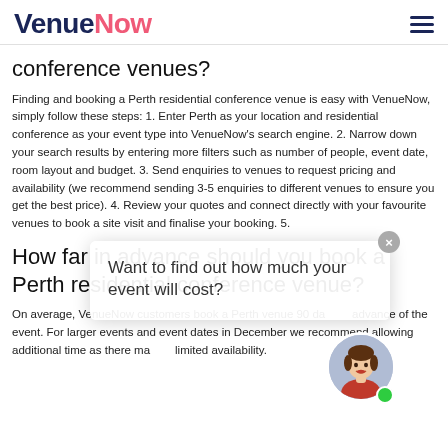VenueNow
conference venues?
Finding and booking a Perth residential conference venue is easy with VenueNow, simply follow these steps: 1. Enter Perth as your location and residential conference as your event type into VenueNow's search engine. 2. Narrow down your search results by entering more filters such as number of people, event date, room layout and budget. 3. Send enquiries to venues to request pricing and availability (we recommend sending 3-5 enquiries to different venues to ensure you get the best price). 4. Review your quotes and connect directly with your favourite venues to book a site visit and finalise your booking. 5.
How far in advance should you book a Perth residential conference venue?
On average, VenueNow customers book a Perth venue 90 days in advance of the event. For larger events and event dates in December we recommend allowing additional time as there may be limited availability.
[Figure (other): Popup chat widget saying 'Want to find out how much your event will cost?' with a close button and avatar image of a woman in red]